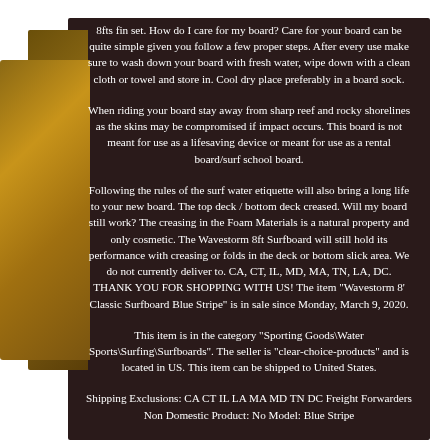[Figure (photo): Cardboard boxes stacked, visible on the left side of the image behind the dark text panel]
8fts fin set. How do I care for my board? Care for your board can be quite simple given you follow a few proper steps. After every use make sure to wash down your board with fresh water, wipe down with a clean cloth or towel and store in. Cool dry place preferably in a board sock.
When riding your board stay away from sharp reef and rocky shorelines as the skins may be compromised if impact occurs. This board is not meant for use as a lifesaving device or meant for use as a rental board/surf school board.
Following the rules of the surf water etiquette will also bring a long life to your new board. The top deck / bottom deck creased. Will my board still work? The creasing in the Foam Materials is a natural property and only cosmetic. The Wavestorm 8ft Surfboard will still hold its performance with creasing or folds in the deck or bottom slick area. We do not currently deliver to. CA, CT, IL, MD, MA, TN, LA, DC. THANK YOU FOR SHOPPING WITH US! The item "Wavestorm 8' Classic Surfboard Blue Stripe" is in sale since Monday, March 9, 2020.
This item is in the category "Sporting Goods\Water Sports\Surfing\Surfboards". The seller is "clear-choice-products" and is located in US. This item can be shipped to United States.
Shipping Exclusions: CA CT IL LA MA MD TN DC Freight Forwarders Non Domestic Product: No Model: Blue Stripe